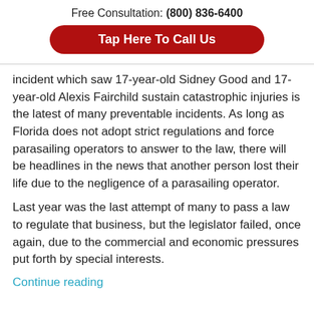Free Consultation: (800) 836-6400
Tap Here To Call Us
incident which saw 17-year-old Sidney Good and 17-year-old Alexis Fairchild sustain catastrophic injuries is the latest of many preventable incidents. As long as Florida does not adopt strict regulations and force parasailing operators to answer to the law, there will be headlines in the news that another person lost their life due to the negligence of a parasailing operator.
Last year was the last attempt of many to pass a law to regulate that business, but the legislator failed, once again, due to the commercial and economic pressures put forth by special interests.
Continue reading